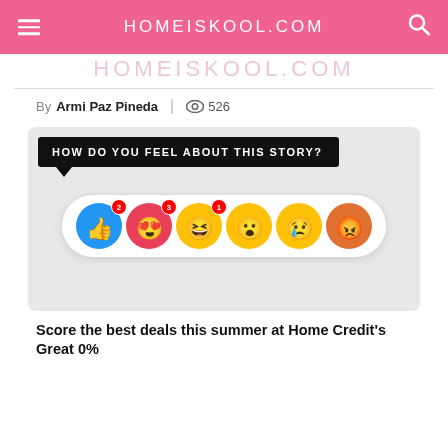HOMEISKOOL.COM
HOMEISKOOL.COM
By Armi Paz Pineda | 526
[Figure (screenshot): Facebook-style reaction widget with speech bubble 'HOW DO YOU FEEL ABOUT THIS STORY?' and 6 emoji reaction buttons (thumbs up with badge 2, love heart with badge 3, haha with badge 1, wow, sad, angry)]
Score the best deals this summer at Home Credit's Great 0%